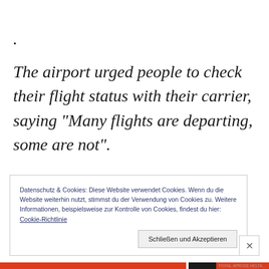.
The airport urged people to check their flight status with their carrier, saying “Many flights are departing, some are not”.
Datenschutz & Cookies: Diese Website verwendet Cookies. Wenn du die Website weiterhin nutzt, stimmst du der Verwendung von Cookies zu. Weitere Informationen, beispielsweise zur Kontrolle von Cookies, findest du hier: Cookie-Richtlinie
Schließen und Akzeptieren